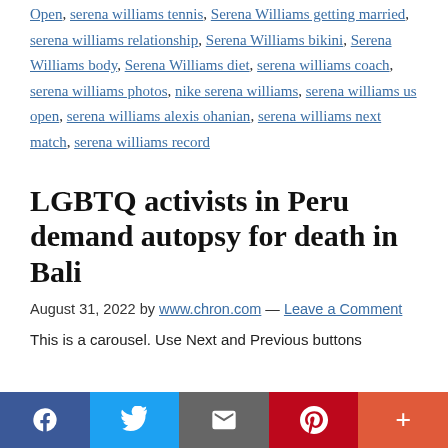Open, serena williams tennis, Serena Williams getting married, serena williams relationship, Serena Williams bikini, Serena Williams body, Serena Williams diet, serena williams coach, serena williams photos, nike serena williams, serena williams us open, serena williams alexis ohanian, serena williams next match, serena williams record
LGBTQ activists in Peru demand autopsy for death in Bali
August 31, 2022 by www.chron.com — Leave a Comment
This is a carousel. Use Next and Previous buttons
Facebook | Twitter | Email | Pinterest | More